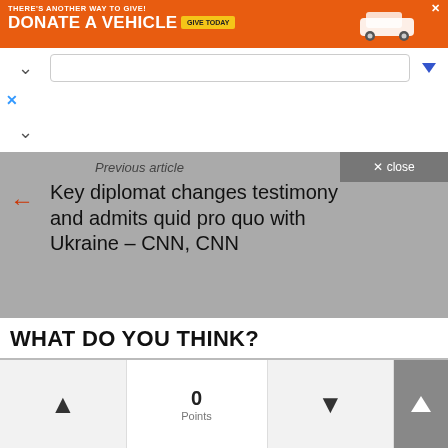[Figure (screenshot): Orange advertisement banner: THERE'S ANOTHER WAY TO GIVE! DONATE A VEHICLE - GIVE TODAY with car image]
Previous article
Key diplomat changes testimony and admits quid pro quo with Ukraine – CNN, CNN
Next article
Children injured in Mexican cartel ambush are airlifted to safety – Daily Mail, Dailymail.co.uk
WHAT DO YOU THINK?
0 Points